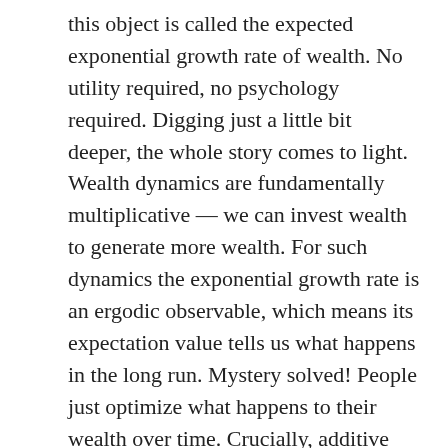this object is called the expected exponential growth rate of wealth. No utility required, no psychology required. Digging just a little bit deeper, the whole story comes to light. Wealth dynamics are fundamentally multiplicative — we can invest wealth to generate more wealth. For such dynamics the exponential growth rate is an ergodic observable, which means its expectation value tells us what happens in the long run. Mystery solved! People just optimize what happens to their wealth over time. Crucially, additive wealth changes, δx are not ergodic, wherefore the expectation value in (Eq.1) does NOT tell us what happens over time.
Economics textbooks and papers miss this